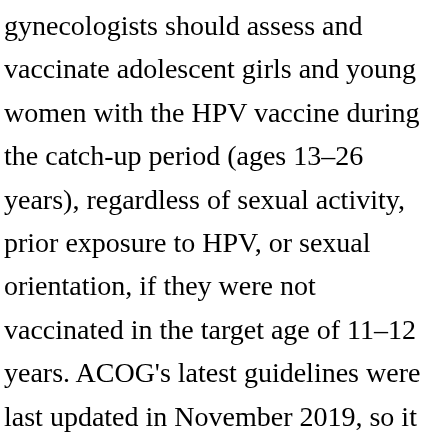gynecologists should assess and vaccinate adolescent girls and young women with the HPV vaccine during the catch-up period (ages 13–26 years), regardless of sexual activity, prior exposure to HPV, or sexual orientation, if they were not vaccinated in the target age of 11–12 years. ACOG's latest guidelines were last updated in November 2019, so it is possible that they may change when they are revised. The American College of Obstetricians & Gynecologists (ACOG) and the Society for Maternal Fetal Medicine (SMFM) have issued new guidelines replacing